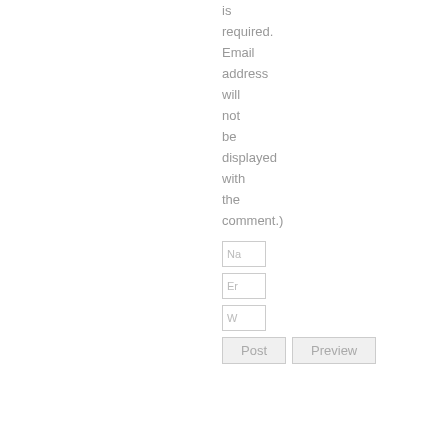is required. Email address will not be displayed with the comment.)
[Figure (screenshot): Three form input fields labeled Na, Er, W respectively]
[Figure (screenshot): Two buttons labeled Post and Preview]